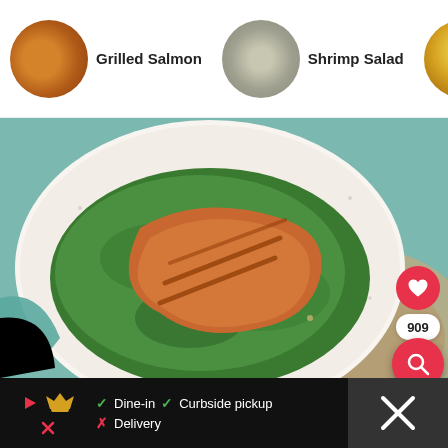[Figure (screenshot): Food recipe app screenshot showing a carousel with Grilled Salmon, Shrimp Salad, and Greek Chicken Pasta Salad, a main image of grilled salmon on a kale salad on a white plate, social action buttons (heart: 909, share), a search FAB, an advertisement banner, and a bottom navigation bar with Smoothie King ad showing Dine-in, Curbside pickup, Delivery options.]